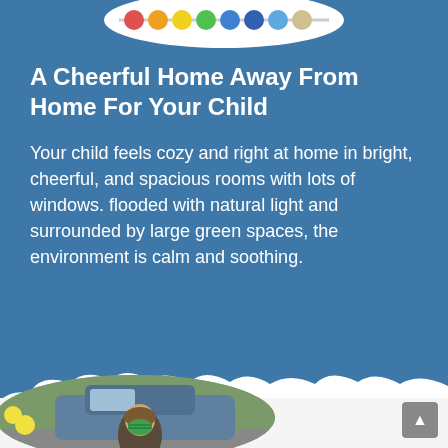[Figure (illustration): Decorative abacus beads image at the top of the page, partially visible, showing colorful circular beads on a white curved shape against a blue background]
A Cheerful Home Away From Home For Your Child
Your child feels cozy and right at home in bright, cheerful, and spacious rooms with lots of windows. flooded with natural light and surrounded by large green spaces, the environment is calm and soothing.
[Figure (illustration): White cloud silhouette decorative band separating the blue top section from the bottom section]
[Figure (photo): Oval-cropped photo of a person with long hair wearing a green patterned face mask, standing near a car in a parking area with yellow balloons visible in the background]